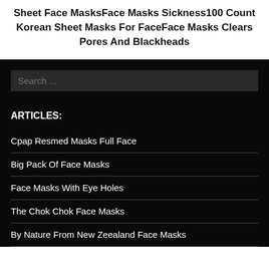Sheet Face MasksFace Masks Sickness100 Count Korean Sheet Masks For FaceFace Masks Clears Pores And Blackheads
Search ...
ARTICLES:
Cpap Resmed Masks Full Face
Big Pack Of Face Masks
Face Masks With Eye Holes
The Chok Chok Face Masks
By Nature From New Zeealand Face Masks